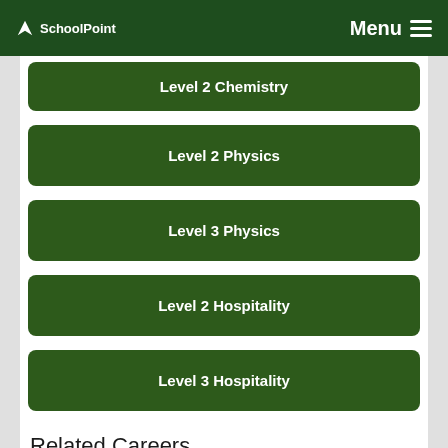SchoolPoint | Menu
Level 2 Chemistry
Level 2 Physics
Level 3 Physics
Level 2 Hospitality
Level 3 Hospitality
Related Careers